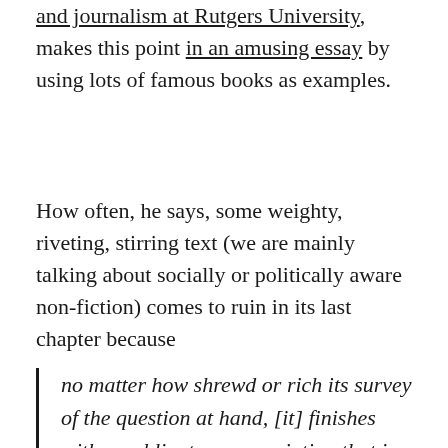and journalism at Rutgers University, makes this point in an amusing essay by using lots of famous books as examples.
How often, he says, some weighty, riveting, stirring text (we are mainly talking about socially or politically aware non-fiction) comes to ruin in its last chapter because
no matter how shrewd or rich its survey of the question at hand, [it] finishes with an obligatory prescription that is utopian, banal, unhelpful or out of tune with the rest of the